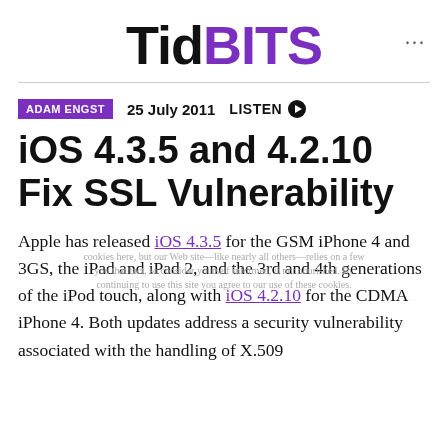TidBITS
ADAM ENGST   25 July 2011   LISTEN
iOS 4.3.5 and 4.2.10 Fix SSL Vulnerability
Apple has released iOS 4.3.5 for the GSM iPhone 4 and 3GS, the iPad and iPad 2, and the 3rd and 4th generations of the iPod touch, along with iOS 4.2.10 for the CDMA iPhone 4. Both updates address a security vulnerability associated with the handling of X.509